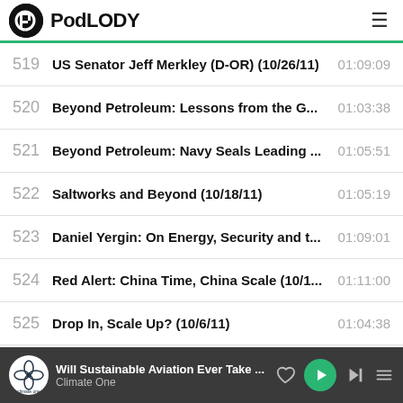PodLODY
519 US Senator Jeff Merkley (D-OR) (10/26/11) 01:09:09
520 Beyond Petroleum: Lessons from the G... 01:03:38
521 Beyond Petroleum: Navy Seals Leading ... 01:05:51
522 Saltworks and Beyond (10/18/11) 01:05:19
523 Daniel Yergin: On Energy, Security and t... 01:09:01
524 Red Alert: China Time, China Scale (10/1... 01:11:00
525 Drop In, Scale Up? (10/6/11) 01:04:38
526 Truckin' (10/5/11) 01:03:04
Will Sustainable Aviation Ever Take ... Climate One